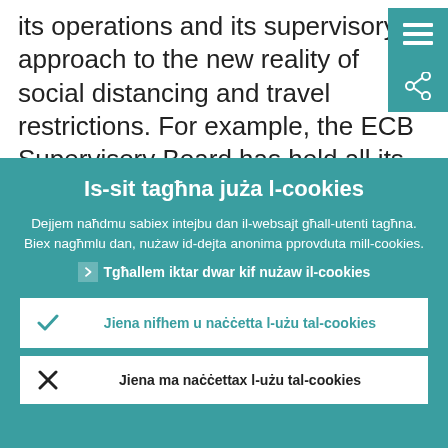its operations and its supervisory approach to the new reality of social distancing and travel restrictions. For example, the ECB Supervisory Board has held all its meetings via telephone or video conference since
Is-sit tagħna juża l-cookies
Dejjem naħdmu sabiex intejbu dan il-websajt għall-utenti tagħna. Biex nagħmlu dan, nużaw id-dejta anonima pprovduta mill-cookies.
❯ Tgħallem iktar dwar kif nużaw il-cookies
✓ Jiena nifhem u naċċetta l-użu tal-cookies
✗ Jiena ma naċċettax l-użu tal-cookies